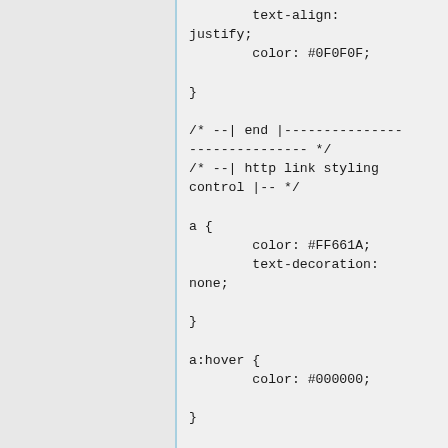text-align:
justify;
        color: #0F0F0F;

}

/* --| end |----------------
---------------- */
/* --| http link styling
control |-- */

a {
        color: #FF661A;
        text-decoration:
none;

}

a:hover {
        color: #000000;

}

/* --| end |----------------
---------------- */